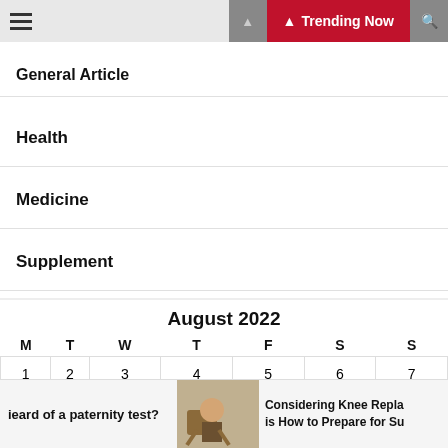General Article | Health | Medicine | Supplement — Trending Now
General Article
Health
Medicine
Supplement
| M | T | W | T | F | S | S |
| --- | --- | --- | --- | --- | --- | --- |
| 1 | 2 | 3 | 4 | 5 | 6 | 7 |
| 8 | 9 | 10 | 11 | 12 | 13 | 14 |
heard of a paternity test? | Considering Knee Replacement: is How to Prepare for Su